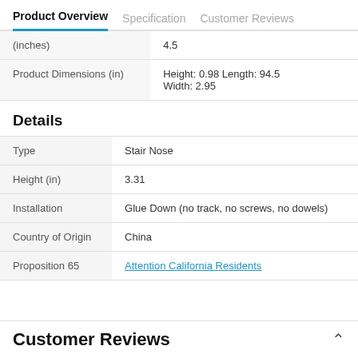Product Overview  Specification  Customer Reviews
|  |  |
| --- | --- |
| (inches) | 4.5 |
| Product Dimensions (in) | Height: 0.98 Length: 94.5 Width: 2.95 |
Details
|  |  |
| --- | --- |
| Type | Stair Nose |
| Height (in) | 3.31 |
| Installation | Glue Down (no track, no screws, no dowels) |
| Country of Origin | China |
| Proposition 65 | Attention California Residents |
Customer Reviews